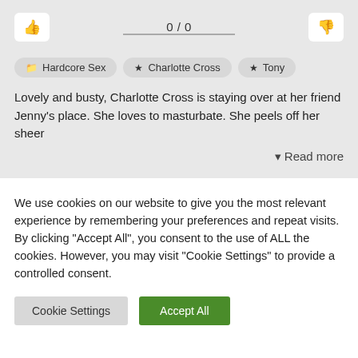[Figure (other): Rating bar with thumbs up button, 0/0 score display with progress line, and thumbs down button]
Hardcore Sex
Charlotte Cross
Tony
Lovely and busty, Charlotte Cross is staying over at her friend Jenny's place. She loves to masturbate. She peels off her sheer
▾ Read more
We use cookies on our website to give you the most relevant experience by remembering your preferences and repeat visits. By clicking "Accept All", you consent to the use of ALL the cookies. However, you may visit "Cookie Settings" to provide a controlled consent.
Cookie Settings
Accept All